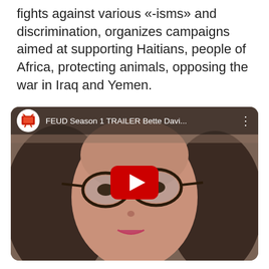fights against various «-isms» and discrimination, organizes campaigns aimed at supporting Haitians, people of Africa, protecting animals, opposing the war in Iraq and Yemen.
[Figure (screenshot): YouTube video thumbnail showing a woman with dark-rimmed glasses and brown hair, with the video title 'FEUD Season 1 TRAILER Bette Davi...' and a red YouTube play button overlay.]